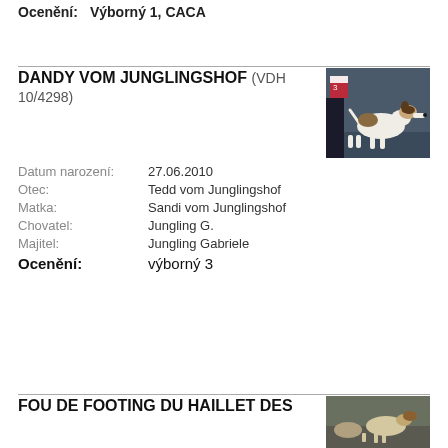Ocenění: Výborný 1, CACA
DANDY VOM JUNGLINGSHOF (VDH 10/4298)
Datum narození: 27.06.2010
Otec: Tedd vom Junglingshof
Matka: Sandi vom Junglingshof
Chovatel: Jungling G.
Majitel: Jungling Gabriele
Ocenění: výborný 3
[Figure (photo): Photo of a fox terrier dog standing sideways at a show]
FOU DE FOOTING DU HAILLET DES